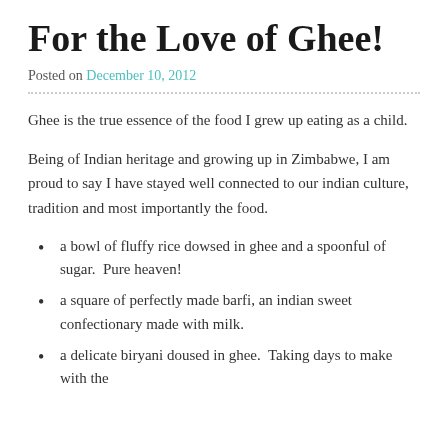For the Love of Ghee!
Posted on December 10, 2012
Ghee is the true essence of the food I grew up eating as a child.
Being of Indian heritage and growing up in Zimbabwe, I am proud to say I have stayed well connected to our indian culture, tradition and most importantly the food.
a bowl of fluffy rice dowsed in ghee and a spoonful of sugar.  Pure heaven!
a square of perfectly made barfi, an indian sweet confectionary made with milk.
a delicate biryani doused in ghee.  Taking days to make with the